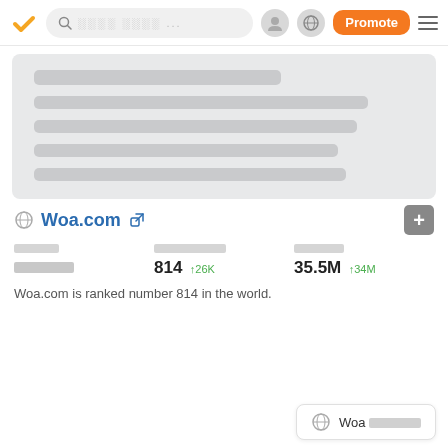Woa.com — Web navigation bar with search, profile, globe, Promote button, and menu
[Figure (screenshot): Blurred content card placeholder with grey bars representing text lines]
Woa.com [external link]
| [Label 1] | [Label 2] | [Label 3] |
| --- | --- | --- |
| [Placeholder] | 814 ↑26K | 35.5M ↑34M |
Woa.com is ranked number 814 in the world.
Woa [placeholder text]